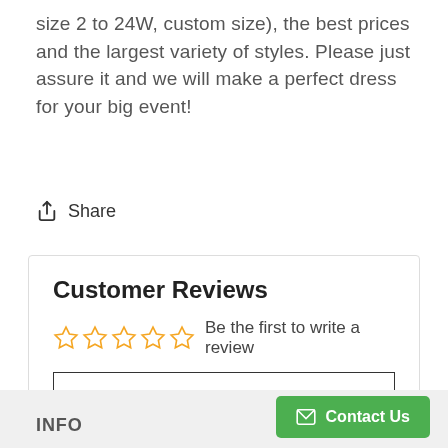size 2 to 24W, custom size), the best prices and the largest variety of styles. Please just assure it and we will make a perfect dress for your big event!
Share
Customer Reviews
Be the first to write a review
Write a review
INFO